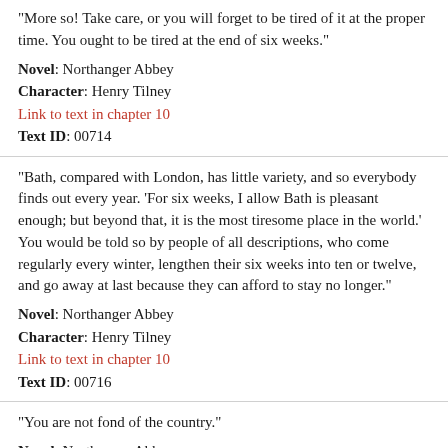“More so! Take care, or you will forget to be tired of it at the proper time. You ought to be tired at the end of six weeks.”
Novel: Northanger Abbey
Character: Henry Tilney
Link to text in chapter 10
Text ID: 00714
“Bath, compared with London, has little variety, and so everybody finds out every year. ‘For six weeks, I allow Bath is pleasant enough; but beyond that, it is the most tiresome place in the world.’ You would be told so by people of all descriptions, who come regularly every winter, lengthen their six weeks into ten or twelve, and go away at last because they can afford to stay no longer.”
Novel: Northanger Abbey
Character: Henry Tilney
Link to text in chapter 10
Text ID: 00716
“You are not fond of the country.”
Novel: Northanger Abbey